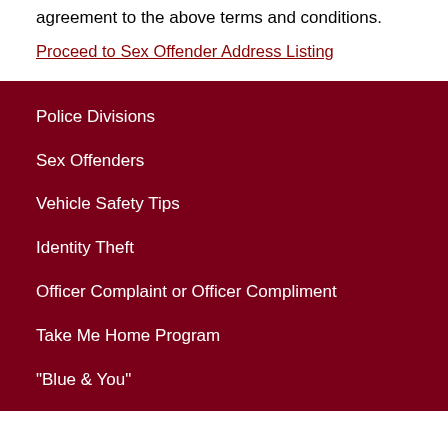agreement to the above terms and conditions.
Proceed to Sex Offender Address Listing
Police Divisions
Sex Offenders
Vehicle Safety Tips
Identity Theft
Officer Complaint or Officer Compliment
Take Me Home Program
"Blue & You"